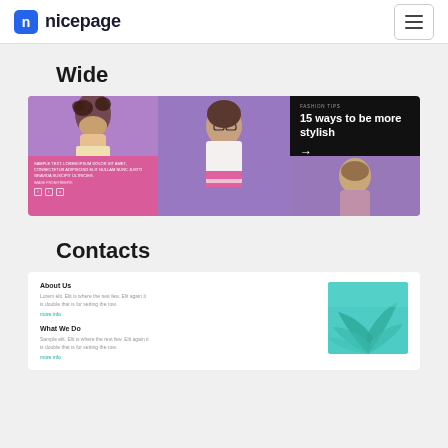nicepage
Wide
[Figure (screenshot): Fashion template screenshot showing three panels: a woman with curly hair on purple background, a woman with glasses in center, and a black panel with text '15 ways to be more stylish' with arrow]
Contacts
[Figure (screenshot): Contacts template card with About Us and What We Do sections alongside a teal image with palm leaf]